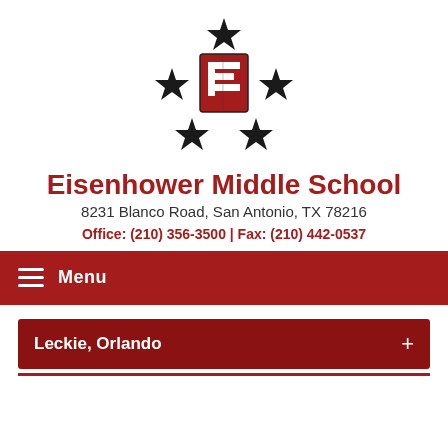[Figure (logo): Eisenhower Middle School logo: a red letter E in the center surrounded by five black five-pointed stars arranged in a circular pattern]
Eisenhower Middle School
8231 Blanco Road, San Antonio, TX 78216
Office: (210) 356-3500 | Fax: (210) 442-0537
Menu
Leckie, Orlando